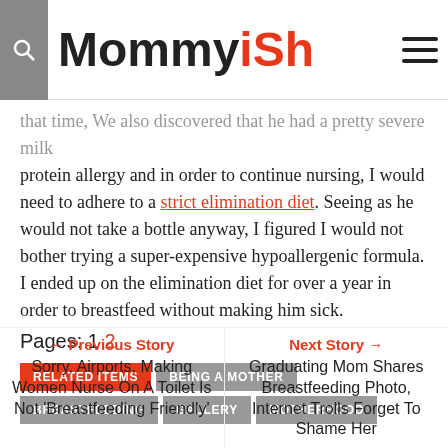Mommyish
protein allergy and in order to continue nursing, I would need to adhere to a strict elimination diet. Seeing as he would not take a bottle anyway, I figured I would not bother trying a super-expensive hypoallergenic formula. I ended up on the elimination diet for over a year in order to breastfeed without making him sick.
Pages: 1 2
RELATED ITEMS  BEING A MOTHER  BREASTFEEDING  GALLERY  MOTHERHOOD
← Previous Story
Sorry, Airports, Making Women Nurse On A Toilet Is Not 'Breastfeeding Friendly'
Next Story →
Graduating Mom Shares Breastfeeding Photo, Internet Trolls Forget To Shame Her